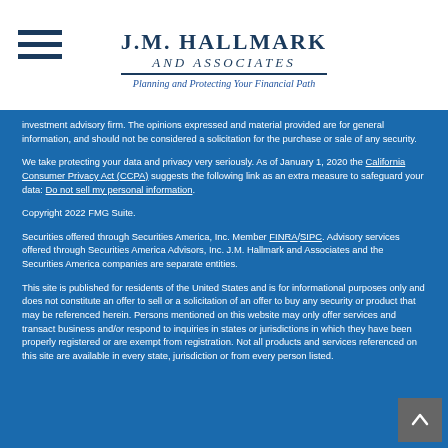J.M. Hallmark and Associates — Planning and Protecting Your Financial Path
investment advisory firm. The opinions expressed and material provided are for general information, and should not be considered a solicitation for the purchase or sale of any security.
We take protecting your data and privacy very seriously. As of January 1, 2020 the California Consumer Privacy Act (CCPA) suggests the following link as an extra measure to safeguard your data: Do not sell my personal information.
Copyright 2022 FMG Suite.
Securities offered through Securities America, Inc. Member FINRA/SIPC. Advisory services offered through Securities America Advisors, Inc. J.M. Hallmark and Associates and the Securities America companies are separate entities.
This site is published for residents of the United States and is for informational purposes only and does not constitute an offer to sell or a solicitation of an offer to buy any security or product that may be referenced herein. Persons mentioned on this website may only offer services and transact business and/or respond to inquiries in states or jurisdictions in which they have been properly registered or are exempt from registration. Not all products and services referenced on this site are available in every state, jurisdiction or from every person listed.